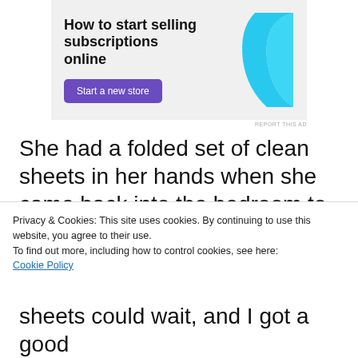[Figure (other): Advertisement banner with text 'How to start selling subscriptions online', a purple 'Start a new store' button, and a light blue decorative graphic shape on the right side. Background is light gray.]
REPORT THIS AD
She had a folded set of clean sheets in her hands when she came back into the bedroom to finish carrying out her dastardly deed, but luckily I was able to hop on top of the comforter she had
Privacy & Cookies: This site uses cookies. By continuing to use this website, you agree to their use.
To find out more, including how to control cookies, see here: Cookie Policy
Close and accept
sheets could wait, and I got a good